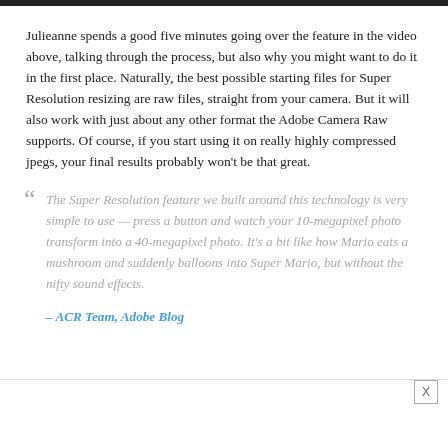Julieanne spends a good five minutes going over the feature in the video above, talking through the process, but also why you might want to do it in the first place. Naturally, the best possible starting files for Super Resolution resizing are raw files, straight from your camera. But it will also work with just about any other format the Adobe Camera Raw supports. Of course, if you start using it on really highly compressed jpegs, your final results probably won't be that great.
“ The Super Resolution feature we built around this technology is very simple to use — press a button and watch your 10-megapixel photo transform into a 40-megapixel photo. It's a bit like how Mario eats a mushroom and suddenly balloons into Super Mario, but without the nifty sound effects.
– ACR Team, Adobe Blog